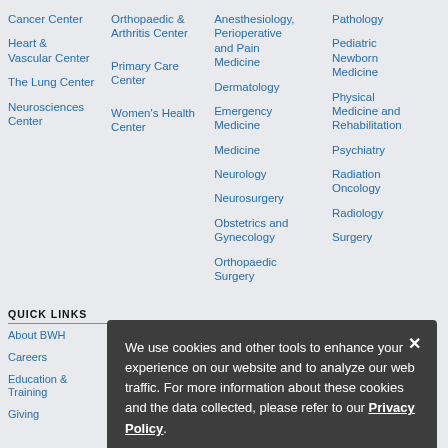Cancer Center
Heart & Vascular Center
The Lung Center
Neurosciences Center
Orthopaedic & Arthritis Center
Primary Care Center
Women's Health Center
Anesthesiology, Perioperative and Pain Medicine
Dermatology
Emergency Medicine
Medicine
Neurology
Neurosurgery
Obstetrics and Gynecology
Orthopaedic Surgery
Pathology
Pediatric Newborn Medicine
Physical Medicine and Rehabilitation
Psychiatry
Radiation Oncology
Radiology
Surgery
QUICK LINKS
About BWH
Careers
Education & Training
Giving
Health Information
News
International
We use cookies and other tools to enhance your experience on our website and to analyze our web traffic. For more information about these cookies and the data collected, please refer to our Privacy Policy.